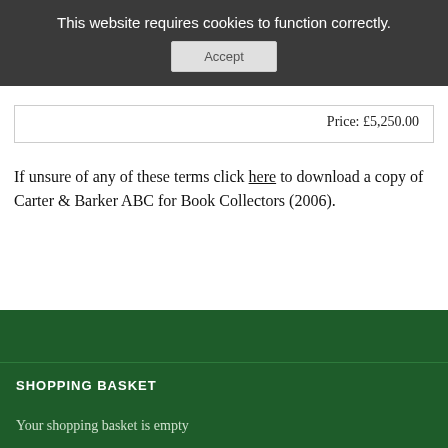This website requires cookies to function correctly.
Accept
Price: £5,250.00
If unsure of any of these terms click here to download a copy of Carter & Barker ABC for Book Collectors (2006).
SHOPPING BASKET
Your shopping basket is empty